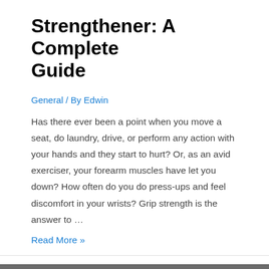Strengthener: A Complete Guide
General / By Edwin
Has there ever been a point when you move a seat, do laundry, drive, or perform any action with your hands and they start to hurt? Or, as an avid exerciser, your forearm muscles have let you down? How often do you do press-ups and feel discomfort in your wrists? Grip strength is the answer to …
Read More »
[Figure (photo): Person in red jacket handling climbing carabiners and harness equipment, with more climbing gear in the background]